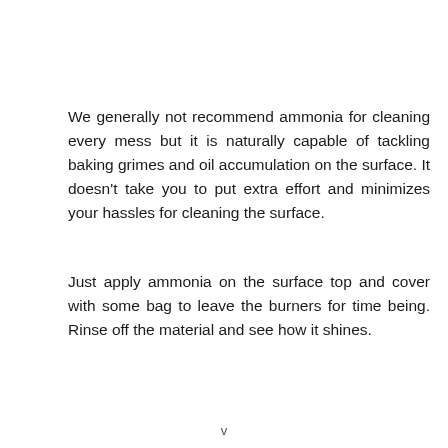We generally not recommend ammonia for cleaning every mess but it is naturally capable of tackling baking grimes and oil accumulation on the surface. It doesn't take you to put extra effort and minimizes your hassles for cleaning the surface.
Just apply ammonia on the surface top and cover with some bag to leave the burners for time being. Rinse off the material and see how it shines.